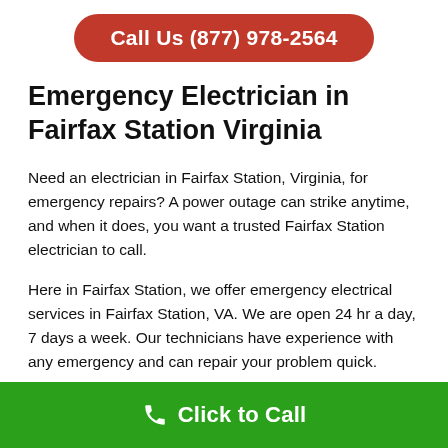Call Us (877) 978-2564
Emergency Electrician in Fairfax Station Virginia
Need an electrician in Fairfax Station, Virginia, for emergency repairs? A power outage can strike anytime, and when it does, you want a trusted Fairfax Station electrician to call.
Here in Fairfax Station, we offer emergency electrical services in Fairfax Station, VA. We are open 24 hr a day, 7 days a week. Our technicians have experience with any emergency and can repair your problem quick.
Click to Call